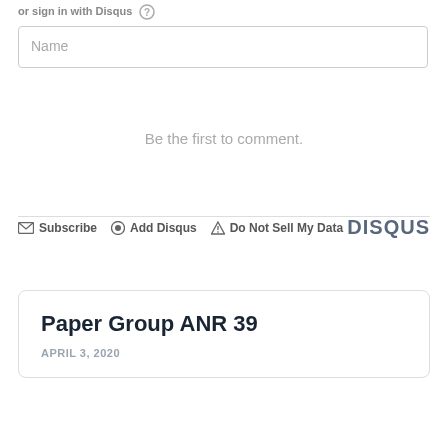or sign in with Disqus
Name
Be the first to comment.
Subscribe  Add Disqus  Do Not Sell My Data  DISQUS
Paper Group ANR 39
APRIL 3, 2020